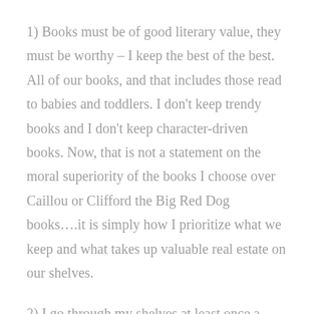1) Books must be of good literary value, they must be worthy – I keep the best of the best. All of our books, and that includes those read to babies and toddlers. I don't keep trendy books and I don't keep character-driven books. Now, that is not a statement on the moral superiority of the books I choose over Caillou or Clifford the Big Red Dog books….it is simply how I prioritize what we keep and what takes up valuable real estate on our shelves.
2) I go through my shelves at least once a year and give some away or sell it to my local homeschool group. How do I decide what stays and what goes? Have we used it? Did we enjoy it? Does it work